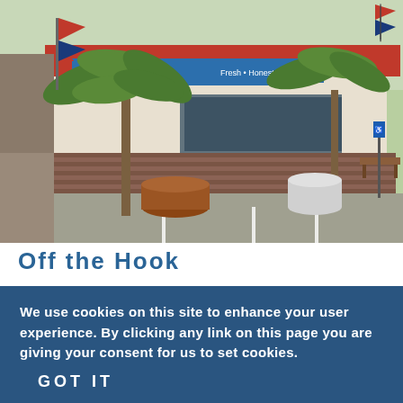[Figure (photo): Exterior photo of 'Off the Hook' restaurant with blue awning reading 'off the hook Fresh·Honest·Local', palm trees in pots in front of a brick building with red metal roof, parking lot in foreground]
Off the Hook
We use cookies on this site to enhance your user experience. By clicking any link on this page you are giving your consent for us to set cookies. More info
GOT IT